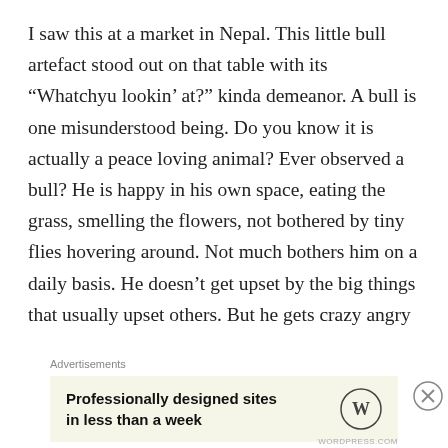I saw this at a market in Nepal. This little bull artefact stood out on that table with its “Whatchyu lookin’ at?” kinda demeanor. A bull is one misunderstood being. Do you know it is actually a peace loving animal? Ever observed a bull? He is happy in his own space, eating the grass, smelling the flowers, not bothered by tiny flies hovering around. Not much bothers him on a daily basis. He doesn’t get upset by the big things that usually upset others. But he gets crazy angry about the small things that others would overlook. He is a patient observer of the world. If you’d just let him be, everyone would be happy.
He’s a...
Advertisements
[Figure (other): WordPress advertisement banner: 'Professionally designed sites in less than a week' with WordPress logo (W in circle)]